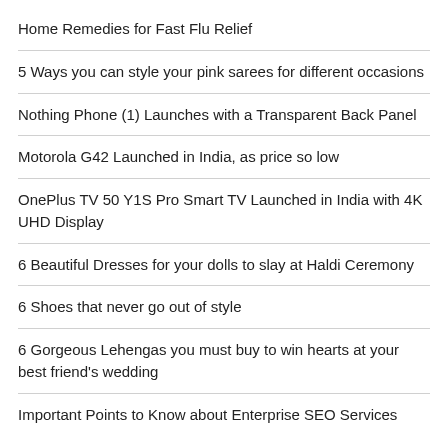Home Remedies for Fast Flu Relief
5 Ways you can style your pink sarees for different occasions
Nothing Phone (1) Launches with a Transparent Back Panel
Motorola G42 Launched in India, as price so low
OnePlus TV 50 Y1S Pro Smart TV Launched in India with 4K UHD Display
6 Beautiful Dresses for your dolls to slay at Haldi Ceremony
6 Shoes that never go out of style
6 Gorgeous Lehengas you must buy to win hearts at your best friend's wedding
Important Points to Know about Enterprise SEO Services